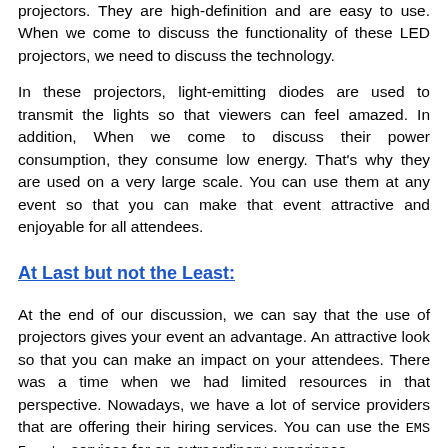projectors. They are high-definition and are easy to use. When we come to discuss the functionality of these LED projectors, we need to discuss the technology.
In these projectors, light-emitting diodes are used to transmit the lights so that viewers can feel amazed. In addition, When we come to discuss their power consumption, they consume low energy. That's why they are used on a very large scale. You can use them at any event so that you can make that event attractive and enjoyable for all attendees.
At Last but not the Least:
At the end of our discussion, we can say that the use of projectors gives your event an advantage. An attractive look so that you can make an impact on your attendees. There was a time when we had limited resources in that perspective. Nowadays, we have a lot of service providers that are offering their hiring services. You can use the EMS Events services for an extraordinary experience.